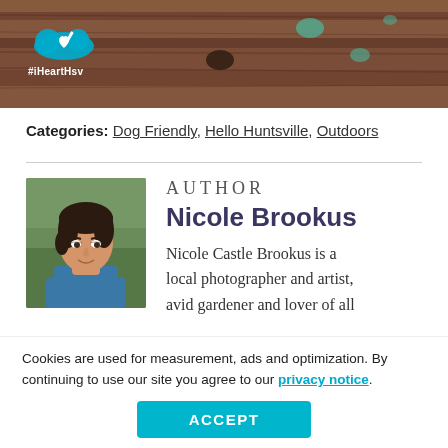[Figure (photo): Outdoor close-up photo of textured tree bark or log with reddish-brown wood grain, with a white iHeartHsv logo overlay in the upper-left showing a cloud with a heart, and the hashtag text #iHeartHsv below it.]
Categories: Dog Friendly, Hello Huntsville, Outdoors
[Figure (photo): Headshot of Nicole Brookus, a woman with short dark brown hair, wearing a teal/blue shirt, smiling at the camera against a blurred outdoor background.]
AUTHOR
Nicole Brookus
Nicole Castle Brookus is a local photographer and artist, avid gardener and lover of all
Cookies are used for measurement, ads and optimization. By continuing to use our site you agree to our privacy notice.